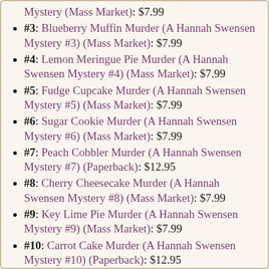Mystery (Mass Market): $7.99
#3: Blueberry Muffin Murder (A Hannah Swensen Mystery #3) (Mass Market): $7.99
#4: Lemon Meringue Pie Murder (A Hannah Swensen Mystery #4) (Mass Market): $7.99
#5: Fudge Cupcake Murder (A Hannah Swensen Mystery #5) (Mass Market): $7.99
#6: Sugar Cookie Murder (A Hannah Swensen Mystery #6) (Mass Market): $7.99
#7: Peach Cobbler Murder (A Hannah Swensen Mystery #7) (Paperback): $12.95
#8: Cherry Cheesecake Murder (A Hannah Swensen Mystery #8) (Mass Market): $7.99
#9: Key Lime Pie Murder (A Hannah Swensen Mystery #9) (Mass Market): $7.99
#10: Carrot Cake Murder (A Hannah Swensen Mystery #10) (Paperback): $12.95
#11: Cream Puff Murder (A Hannah Swensen Mystery #11) (Mass Market): $7.99